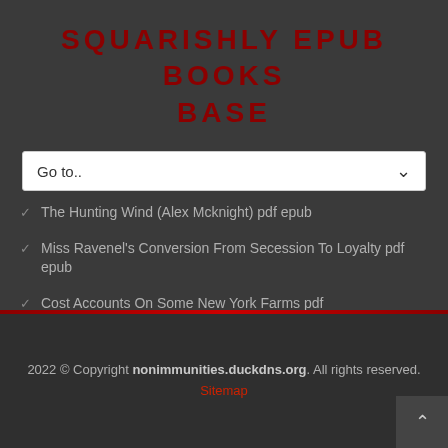SQUARISHLY EPUB BOOKS BASE
The Hunting Wind (Alex Mcknight) pdf epub
Miss Ravenel's Conversion From Secession To Loyalty pdf epub
Cost Accounts On Some New York Farms pdf
2022 © Copyright nonimmunities.duckdns.org. All rights reserved. Sitemap